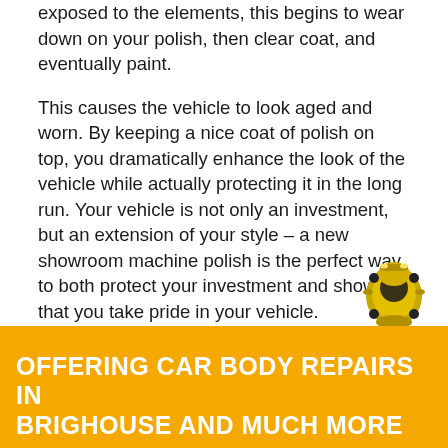exposed to the elements, this begins to wear down on your polish, then clear coat, and eventually paint.
This causes the vehicle to look aged and worn. By keeping a nice coat of polish on top, you dramatically enhance the look of the vehicle while actually protecting it in the long run. Your vehicle is not only an investment, but an extension of your style – a new showroom machine polish is the perfect way to both protect your investment and show that you take pride in your vehicle.
[Figure (illustration): Yellow sports car viewed from above/front, small decorative image in the lower right area above yellow banner]
OFFERING CAR BODY REPAIRS IN BRIGHOUSE AND MUCH MORE